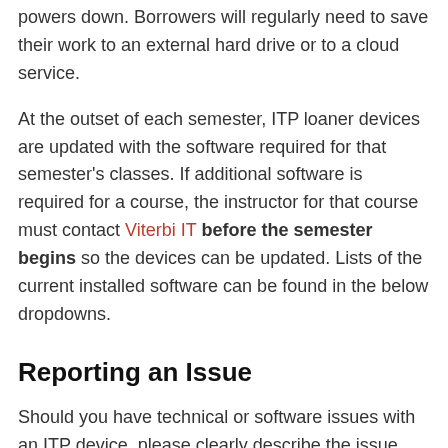powers down. Borrowers will regularly need to save their work to an external hard drive or to a cloud service.
At the outset of each semester, ITP loaner devices are updated with the software required for that semester's classes. If additional software is required for a course, the instructor for that course must contact Viterbi IT before the semester begins so the devices can be updated. Lists of the current installed software can be found in the below dropdowns.
Reporting an Issue
Should you have technical or software issues with an ITP device, please clearly describe the issue you are experiencing in an email to itp@usc.edu. We will work to resolve the issue with